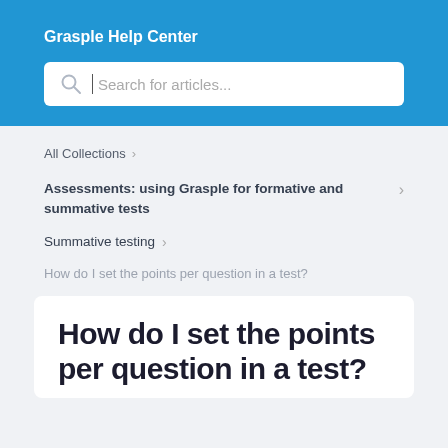Grasple Help Center
Search for articles...
All Collections
Assessments: using Grasple for formative and summative tests
Summative testing
How do I set the points per question in a test?
How do I set the points per question in a test?